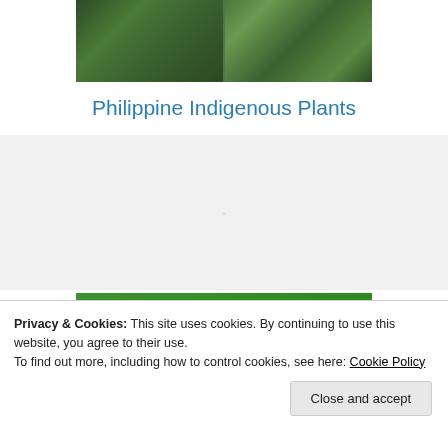[Figure (photo): Photograph of Philippine indigenous plants with dense green foliage, split into two panels]
Philippine Indigenous Plants
[Figure (other): Gray placeholder advertisement block]
[Figure (other): Green advertisement banner reading 'The best real-time WordPress backup plugin']
Privacy & Cookies: This site uses cookies. By continuing to use this website, you agree to their use.
To find out more, including how to control cookies, see here: Cookie Policy
Close and accept